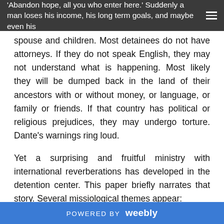'Abandon hope, all you who enter here.' Suddenly a man loses his income, his long term goals, and maybe even his spouse and children.
spouse and children. Most detainees do not have attorneys. If they do not speak English, they may not understand what is happening. Most likely they will be dumped back in the land of their ancestors with or without money, or language, or family or friends. If that country has political or religious prejudices, they may undergo torture. Dante's warnings ring loud.
Yet a surprising and fruitful ministry with international reverberations has developed in the detention center. This paper briefly narrates that story. Several missiological themes appear:
Theology of culture and nation, of migration and exile, of justice and shalom
Global diaspora movements, cause, cause, and
POWERED BY weebly